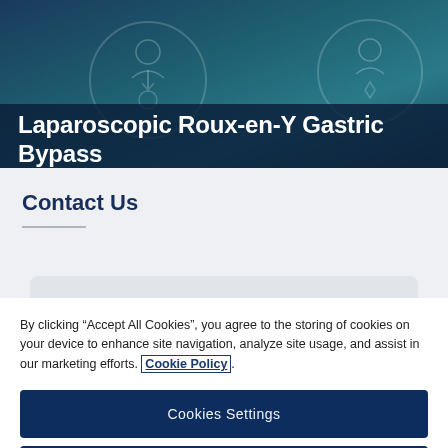[Figure (illustration): Header banner with teal/dark blue gradient background and decorative circular medical icons (person/patient icons)]
Laparoscopic Roux-en-Y Gastric Bypass
Contact Us
By clicking “Accept All Cookies”, you agree to the storing of cookies on your device to enhance site navigation, analyze site usage, and assist in our marketing efforts. Cookie Policy.
Cookies Settings
Reject All